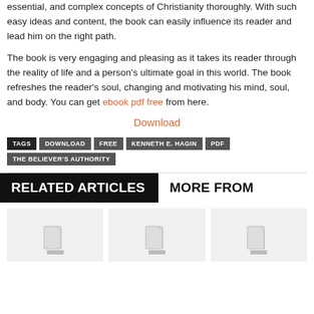essential, and complex concepts of Christianity thoroughly. With such easy ideas and content, the book can easily influence its reader and lead him on the right path.
The book is very engaging and pleasing as it takes its reader through the reality of life and a person's ultimate goal in this world. The book refreshes the reader's soul, changing and motivating his mind, soul, and body. You can get ebook pdf free from here.
Download
TAGS | DOWNLOAD | FREE | KENNETH E. HAGIN | PDF | THE BELIEVER'S AUTHORITY
RELATED ARTICLES | MORE FROM
[Figure (other): Three document thumbnail placeholders in a row]